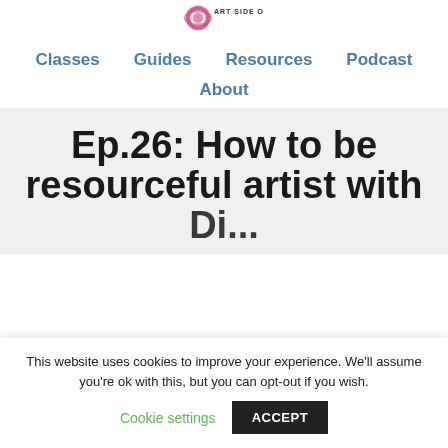[Figure (logo): Circular colorful logo for Art Side of Life website, partially visible at top]
Classes   Guides   Resources   Podcast   About
Ep.26: How to be resourceful artist with Di...
This website uses cookies to improve your experience. We'll assume you're ok with this, but you can opt-out if you wish.
Cookie settings   ACCEPT